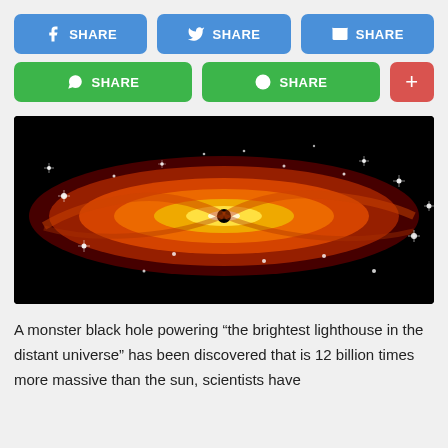[Figure (other): Social share buttons row 1: Facebook Share, Twitter Share, Email Share (all blue)]
[Figure (other): Social share buttons row 2: WhatsApp Share, LINE Share (both green), plus button (red)]
[Figure (photo): Illustration of a black hole with a bright accretion disk glowing orange and yellow, surrounded by stars on a black background.]
A monster black hole powering “the brightest lighthouse in the distant universe” has been discovered that is 12 billion times more massive than the sun, scientists have